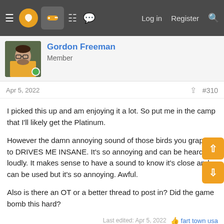Navigation bar with hamburger menu, logo, gamepad icon, grid icon, chat icon, Log in, Register, Search
Gordon Freeman
Member
Apr 5, 2022  #310
I picked this up and am enjoying it a lot. So put me in the camp that I'll likely get the Platinum.

However the damn annoying sound of those birds you grapple to DRIVES ME INSANE. It's so annoying and can be heard so loudly. It makes sense to have a sound to know it's close and can be used but it's so annoying. Awful.

Also is there an OT or a better thread to post in? Did the game bomb this hard?
Last edited: Apr 5, 2022